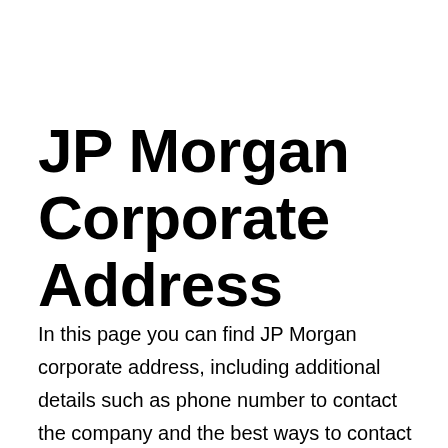JP Morgan Corporate Address
In this page you can find JP Morgan corporate address, including additional details such as phone number to contact the company and the best ways to contact JP Morgan corporate. JP Morgan corporate